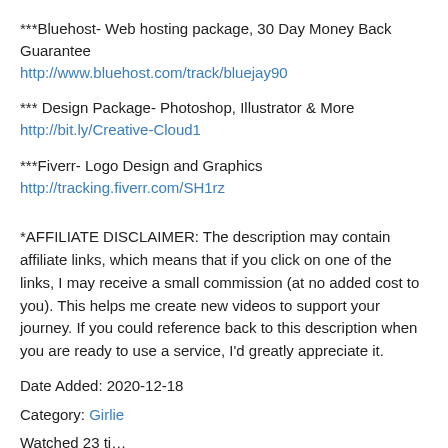***Bluehost- Web hosting package, 30 Day Money Back Guarantee
http://www.bluehost.com/track/bluejay90
*** Design Package- Photoshop, Illustrator & More
http://bit.ly/Creative-Cloud1
***Fiverr- Logo Design and Graphics
http://tracking.fiverr.com/SH1rz
*AFFILIATE DISCLAIMER: The description may contain affiliate links, which means that if you click on one of the links, I may receive a small commission (at no added cost to you). This helps me create new videos to support your journey. If you could reference back to this description when you are ready to use a service, I'd greatly appreciate it.
Date Added: 2020-12-18
Category: Girlie
Watched 23 ti…